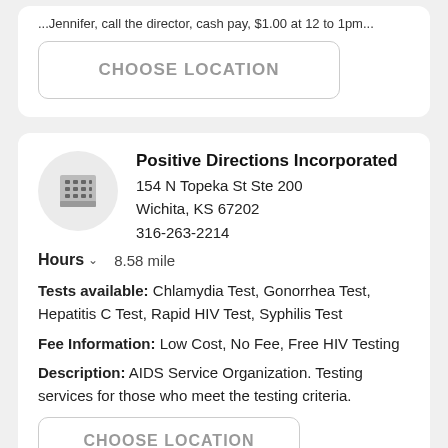...Jennifer, call the director, cash pay, $1.00 at 12 to 1p m...
CHOOSE LOCATION
Positive Directions Incorporated
154 N Topeka St Ste 200
Wichita, KS 67202
316-263-2214
Hours  8.58 mile
Tests available: Chlamydia Test, Gonorrhea Test, Hepatitis C Test, Rapid HIV Test, Syphilis Test
Fee Information: Low Cost, No Fee, Free HIV Testing
Description: AIDS Service Organization. Testing services for those who meet the testing criteria.